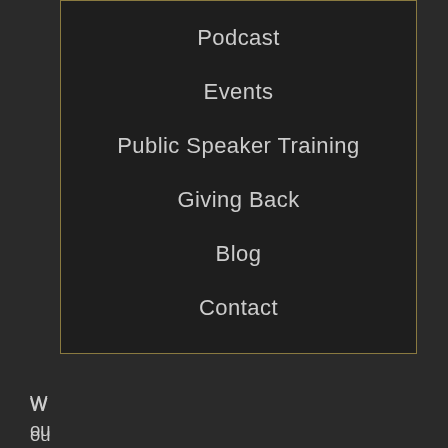Podcast
Events
Public Speaker Training
Giving Back
Blog
Contact
W... ou... so... celebratory comments and support because this industry is chock-full of colleagues who truly cheer each other on and are happy when they see others doing well. It's a big part of the unique charm of our industry.
There is nothing particularly wrong with this practice of announcing voice over successes – it is common for brands to celebrate wins in press releases, product launches, town halls, etc. One could argue that even